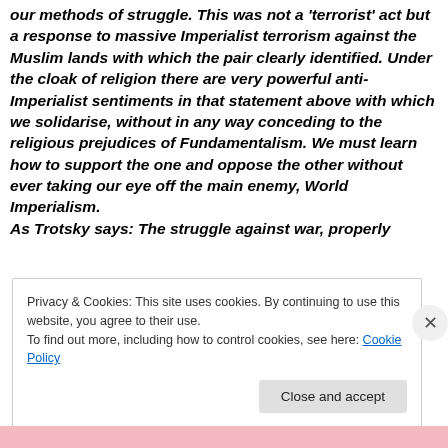our methods of struggle. This was not a 'terrorist' act but a response to massive Imperialist terrorism against the Muslim lands with which the pair clearly identified. Under the cloak of religion there are very powerful anti-Imperialist sentiments in that statement above with which we solidarise, without in any way conceding to the religious prejudices of Fundamentalism. We must learn how to support the one and oppose the other without ever taking our eye off the main enemy, World Imperialism. As Trotsky says: The struggle against war, properly
Privacy & Cookies: This site uses cookies. By continuing to use this website, you agree to their use.
To find out more, including how to control cookies, see here: Cookie Policy